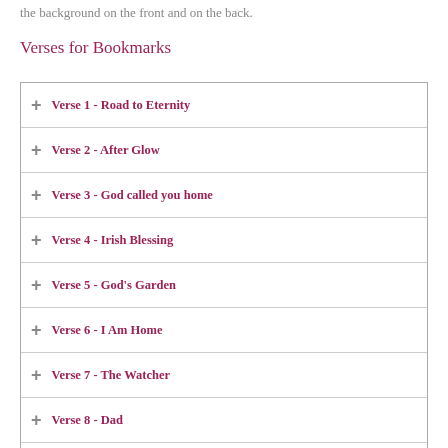the background on the front and on the back.
Verses for Bookmarks
Verse 1 - Road to Eternity
Verse 2 - After Glow
Verse 3 - God called you home
Verse 4 - Irish Blessing
Verse 5 - God's Garden
Verse 6 - I Am Home
Verse 7 - The Watcher
Verse 8 - Dad
Verse 9 - There is a Special Angel
Verse 10 - Not Forgotten